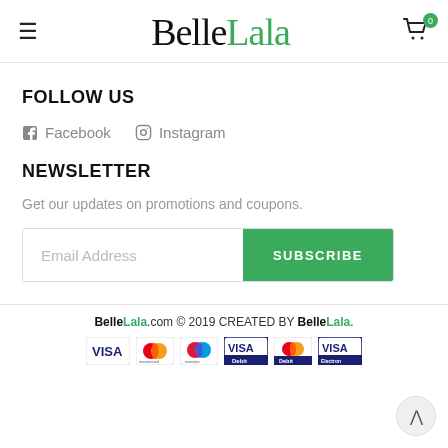BelleLala — navigation header with hamburger menu, logo, and cart
FOLLOW US
f  Facebook    Instagram
NEWSLETTER
Get our updates on promotions and coupons.
Email Address  SUBSCRIBE
BelleLala.com © 2019 CREATED BY BelleLala. [Payment icons: VISA, Mastercard, Maestro, VISA Debit, Mastercard Debit, VISA Electron]